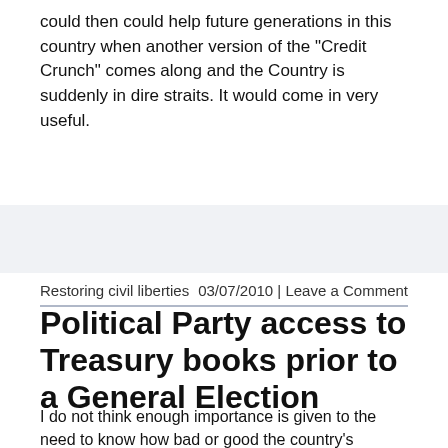could then could help future generations in this country when another version of the "Credit Crunch" comes along and the Country is suddenly in dire straits. It would come in very useful.
Restoring civil liberties	03/07/2010 | Leave a Comment
Political Party access to Treasury books prior to a General Election
I do not think enough importance is given to the need to know how bad or good the country's finances are prior to a General Election. I believe that at least the 6/7 main